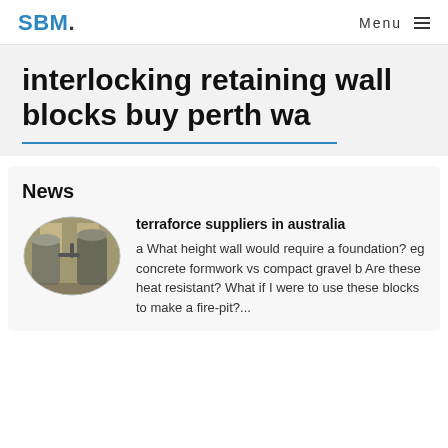SBM. Menu
interlocking retaining wall blocks buy perth wa
News
[Figure (photo): Oval-shaped thumbnail photo of industrial storage tanks or silos in a facility]
terraforce suppliers in australia
a What height wall would require a foundation? eg concrete formwork vs compact gravel b Are these heat resistant? What if I were to use these blocks to make a fire-pit?...